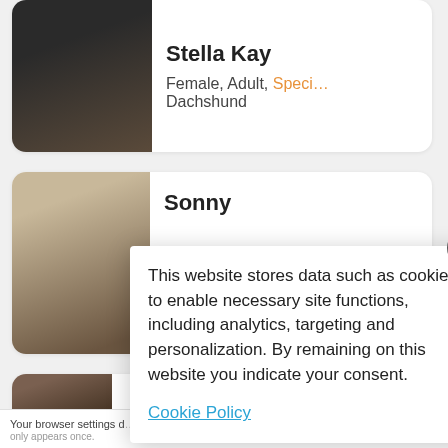[Figure (photo): Photo of Stella Kay, a black Dachshund dog wearing a red collar, looking up at the camera]
Stella Kay
Female, Adult, Speci... Dachshund
[Figure (photo): Photo of Sonny, a light-colored fluffy dog viewed from above]
Sonny
[Figure (photo): Partial photo of a third pet, partially visible]
This website stores data such as cookies to enable necessary site functions, including analytics, targeting and personalization. By remaining on this website you indicate your consent.
Cookie Policy
Your browser settings d... AdRoll to use cross-site... by clicking here. This message only appears once.